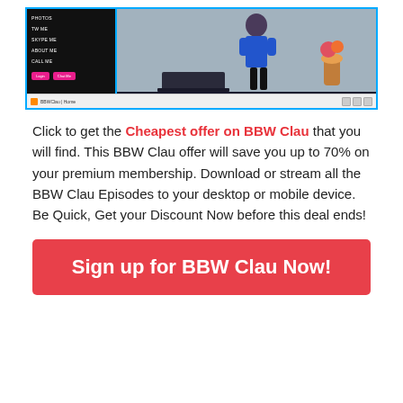[Figure (screenshot): Screenshot of BBW Clau website interface showing a left sidebar with menu items (PHOTOS, TW ME, SKYPE ME, ABOUT ME, CALL ME) and pink login/chat buttons, and the right side showing a video stream of a person in a blue outfit. Browser bar at bottom shows 'BBWClau | Home'.]
Click to get the Cheapest offer on BBW Clau that you will find. This BBW Clau offer will save you up to 70% on your premium membership. Download or stream all the BBW Clau Episodes to your desktop or mobile device. Be Quick, Get your Discount Now before this deal ends!
Sign up for BBW Clau Now!